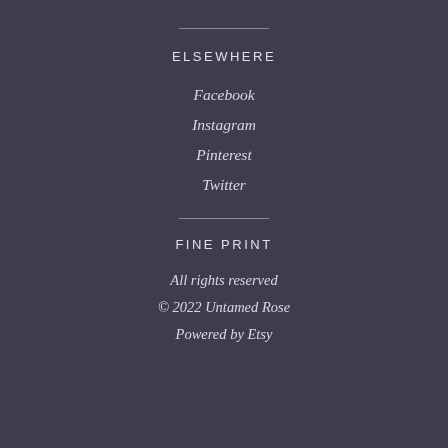ELSEWHERE
Facebook
Instagram
Pinterest
Twitter
FINE PRINT
All rights reserved
© 2022 Untamed Rose
Powered by Etsy